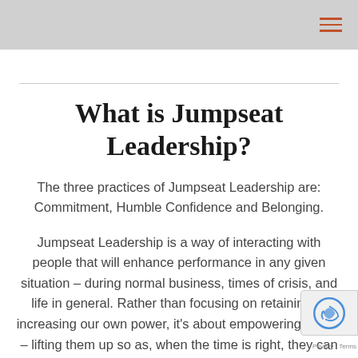What is Jumpseat Leadership?
The three practices of Jumpseat Leadership are: Commitment, Humble Confidence and Belonging.
Jumpseat Leadership is a way of interacting with people that will enhance performance in any given situation – during normal business, times of crisis, and life in general. Rather than focusing on retaining or increasing our own power, it's about empowering others – lifting them up so as, when the time is right, they can take the lead.